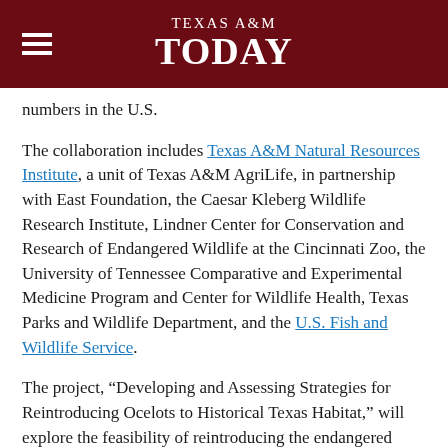TEXAS A&M TODAY
numbers in the U.S.
The collaboration includes Texas A&M Natural Resources Institute, a unit of Texas A&M AgriLife, in partnership with East Foundation, the Caesar Kleberg Wildlife Research Institute, Lindner Center for Conservation and Research of Endangered Wildlife at the Cincinnati Zoo, the University of Tennessee Comparative and Experimental Medicine Program and Center for Wildlife Health, Texas Parks and Wildlife Department, and the U.S. Fish and Wildlife Service.
The project, “Developing and Assessing Strategies for Reintroducing Ocelots to Historical Texas Habitat,” will explore the feasibility of reintroducing the endangered ocelot to a portion of their historical range in Texas that is distinct from known populations’ currently occupied habitat.
The project’s exploratory research efforts include